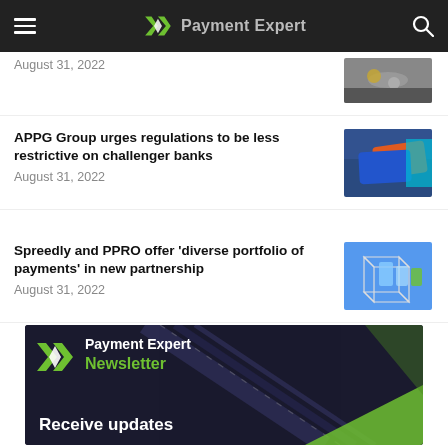Payment Expert
August 31, 2022
APPG Group urges regulations to be less restrictive on challenger banks
August 31, 2022
Spreedly and PPRO offer ‘diverse portfolio of payments’ in new partnership
August 31, 2022
[Figure (screenshot): Payment Expert Newsletter banner with logo, green text 'Newsletter', and text 'Receive updates']